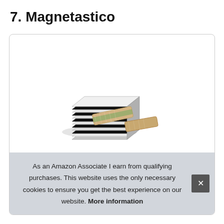7. Magnetastico
[Figure (photo): Product photo of Magnetastico rectangular neodymium magnets stacked in a pile, with two individual magnets with adhesive tape shown in the foreground.]
As an Amazon Associate I earn from qualifying purchases. This website uses the only necessary cookies to ensure you get the best experience on our website. More information